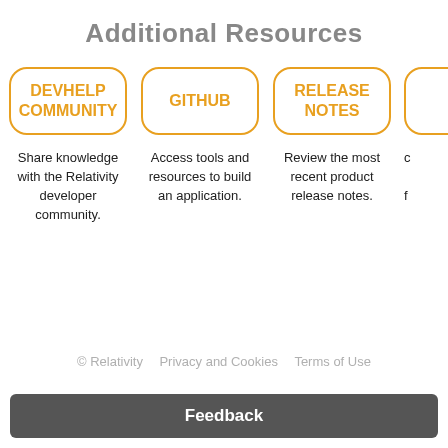Additional Resources
[Figure (infographic): Three resource buttons in rounded rectangle boxes with orange borders and orange bold uppercase labels: DEVHELP COMMUNITY, GITHUB, RELEASE NOTES, and a partial fourth box cut off at right edge.]
Share knowledge with the Relativity developer community.
Access tools and resources to build an application.
Review the most recent product release notes.
© Relativity   Privacy and Cookies   Terms of Use
Feedback